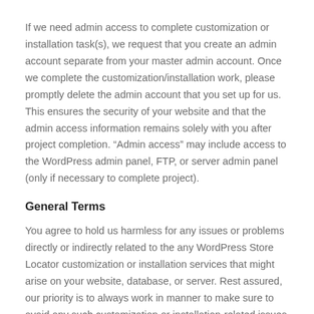If we need admin access to complete customization or installation task(s), we request that you create an admin account separate from your master admin account. Once we complete the customization/installation work, please promptly delete the admin account that you set up for us. This ensures the security of your website and that the admin access information remains solely with you after project completion. “Admin access” may include access to the WordPress admin panel, FTP, or server admin panel (only if necessary to complete project).
General Terms
You agree to hold us harmless for any issues or problems directly or indirectly related to the any WordPress Store Locator customization or installation services that might arise on your website, database, or server. Rest assured, our priority is to always work in manner to make sure to avoid any such customization or installation-related issues or problems.